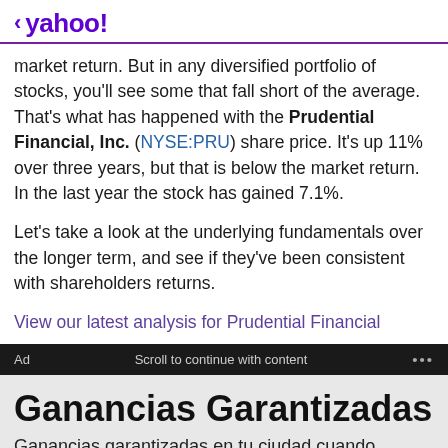< yahoo!
market return. But in any diversified portfolio of stocks, you'll see some that fall short of the average. That's what has happened with the Prudential Financial, Inc. (NYSE:PRU) share price. It's up 11% over three years, but that is below the market return. In the last year the stock has gained 7.1%.
Let's take a look at the underlying fundamentals over the longer term, and see if they've been consistent with shareholders returns.
View our latest analysis for Prudential Financial
Ad   Scroll to continue with content   ...
Ganancias Garantizadas
Ganancias garantizadas en tu ciudad cuando